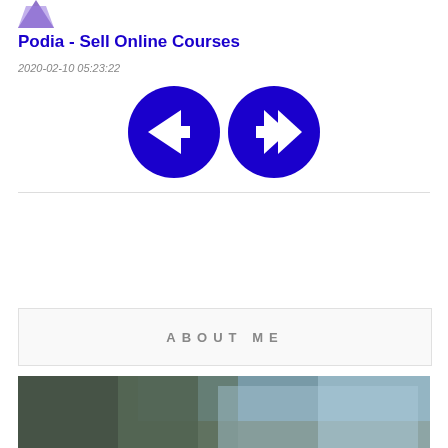[Figure (logo): Purple/violet stylized logo icon in top left corner]
Podia - Sell Online Courses
2020-02-10 05:23:22
[Figure (illustration): Two large blue circular navigation arrow buttons: a left-arrow and a right-arrow (double-headed), centered on the page]
ABOUT ME
[Figure (photo): Blurred outdoor photograph showing trees and sky with bluish tones; a scroll-to-top button with double chevron up icon overlaid in the right portion]